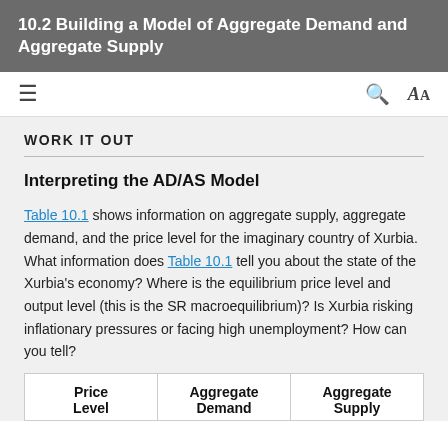10.2 Building a Model of Aggregate Demand and Aggregate Supply
WORK IT OUT
Interpreting the AD/AS Model
Table 10.1 shows information on aggregate supply, aggregate demand, and the price level for the imaginary country of Xurbia. What information does Table 10.1 tell you about the state of the Xurbia's economy? Where is the equilibrium price level and output level (this is the SR macroequilibrium)? Is Xurbia risking inflationary pressures or facing high unemployment? How can you tell?
| Price Level | Aggregate Demand | Aggregate Supply |
| --- | --- | --- |